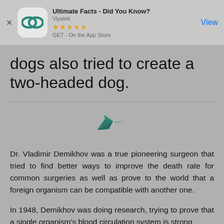[Figure (screenshot): App Store banner advertisement for 'Ultimate Facts - Did You Know?' by Viyatek, showing app icon with teal infinity-like logo, 5 star rating, GET button, and View link]
dogs also tried to create a two-headed dog.
[Figure (illustration): Small teal paper airplane icon with a short dash line]
Dr. Vladimir Demikhov was a true pioneering surgeon that tried to find better ways to improve the death rate for common surgeries as well as prove to the world that a foreign organism can be compatible with another one.
In 1948, Demikhov was doing research, trying to prove that a single organism's blood circulation system is strong